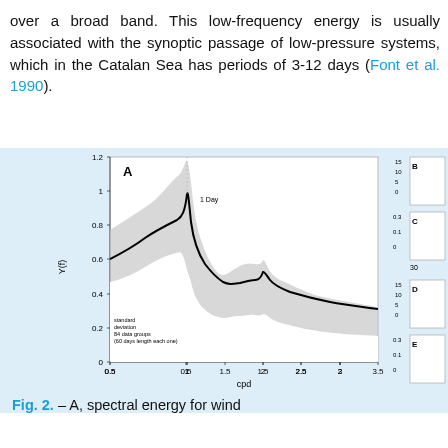over a broad band. This low-frequency energy is usually associated with the synoptic passage of low-pressure systems, which in the Catalan Sea has periods of 3-12 days (Font et al. 1990).
[Figure (continuous-plot): Panel A: spectral energy plot (gamma vs cpd) showing wind spectral energy with a sharp peak at 1 Day frequency (~1 cpd), a smaller peak near 2 cpd, and a broad low-frequency band. Gray shading shows standard deviation for 84 data groups of 60 days length each one. Black line shows mean. X-axis: cpd (0.5 to 4), Y-axis: Y(f) (0 to 1.2). Partially visible side panels B, C, D, E with axes labeled m s^-1.]
Fig. 2. – A, spectral energy for wind ... 2013, based on statistical...